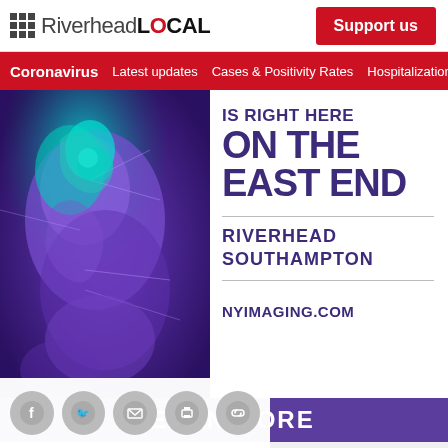RiverheadLOCAL  Support us
Coronavirus  Latest updates  Cases & Positivity Rates  Hospitalizations
[Figure (illustration): Riverhead LOCAL NYImaging advertisement showing medical imaging artwork with text: IS RIGHT HERE ON THE EAST END, RIVERHEAD, SOUTHAMPTON, NYIMAGING.COM, LEARN MORE]
Social share icons: Facebook, Twitter, Email, Print, Link